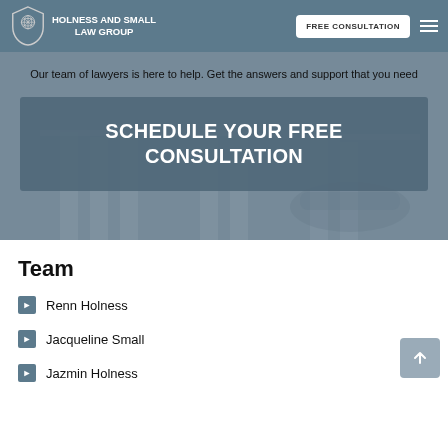HOLNESS AND SMALL LAW GROUP | FREE CONSULTATION
Our team of lawyers is here to help. Get the answers and support that you need
[Figure (screenshot): Call-to-action button with text SCHEDULE YOUR FREE CONSULTATION on a blue-grey background]
Team
Renn Holness
Jacqueline Small
Jazmin Holness